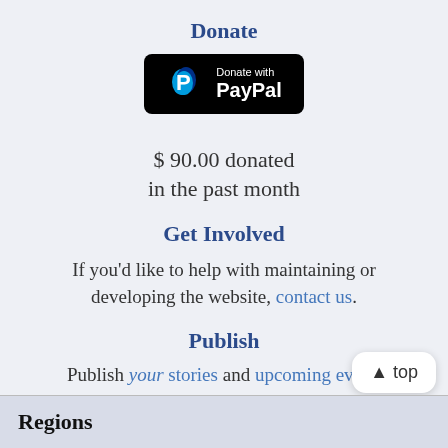Donate
[Figure (logo): Donate with PayPal button — black rounded rectangle with PayPal logo and text]
$ 90.00 donated in the past month
Get Involved
If you'd like to help with maintaining or developing the website, contact us.
Publish
Publish your stories and upcoming eve... Indybay.
Regions